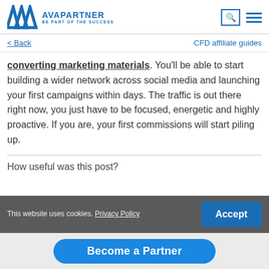AVAPartner — BE PART OF THE SUCCESS
< Back | CFD affiliate guides
converting marketing materials. You'll be able to start building a wider network across social media and launching your first campaigns within days. The traffic is out there right now, you just have to be focused, energetic and highly proactive. If you are, your first commissions will start piling up.
How useful was this post?
This website uses cookies. Privacy Policy
Accept
Become a Partner